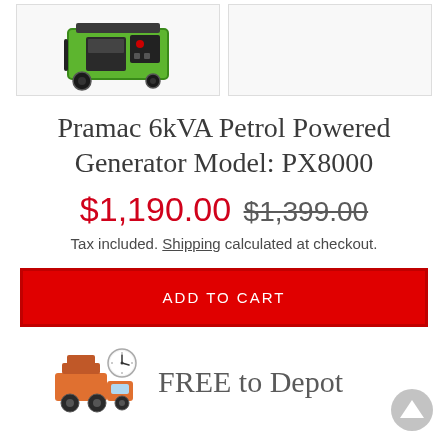[Figure (photo): Two product image boxes side by side. Left box shows a green Pramac generator on wheels. Right box is empty/white.]
Pramac 6kVA Petrol Powered Generator Model: PX8000
$1,190.00  $1,399.00
Tax included. Shipping calculated at checkout.
ADD TO CART
[Figure (illustration): Orange delivery truck icon with a clock, representing fast/free shipping.]
FREE to Depot